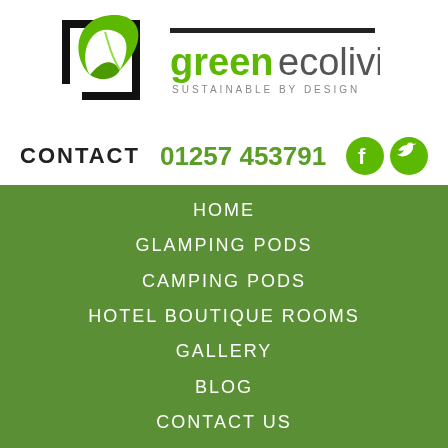[Figure (logo): Green Eco Living logo with a black square frame containing a green leaf, and text 'greenecoliving SUSTAINABLE BY DESIGN']
CONTACT  01257 453791
HOME
GLAMPING PODS
CAMPING PODS
HOTEL BOUTIQUE ROOMS
GALLERY
BLOG
CONTACT US